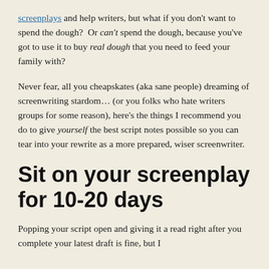screenplays and help writers, but what if you don't want to spend the dough? Or can't spend the dough, because you've got to use it to buy real dough that you need to feed your family with?
Never fear, all you cheapskates (aka sane people) dreaming of screenwriting stardom... (or you folks who hate writers groups for some reason), here's the things I recommend you do to give yourself the best script notes possible so you can tear into your rewrite as a more prepared, wiser screenwriter.
Sit on your screenplay for 10-20 days
Popping your script open and giving it a read right after you complete your latest draft is fine, but I